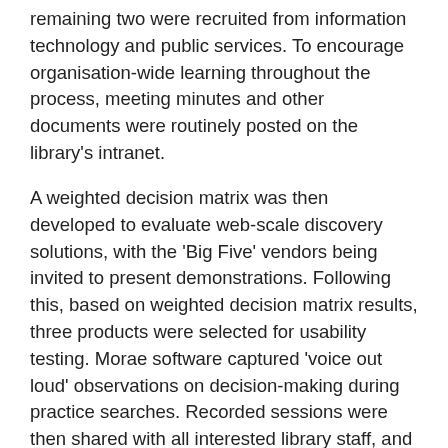remaining two were recruited from information technology and public services. To encourage organisation-wide learning throughout the process, meeting minutes and other documents were routinely posted on the library's intranet.
A weighted decision matrix was then developed to evaluate web-scale discovery solutions, with the 'Big Five' vendors being invited to present demonstrations. Following this, based on weighted decision matrix results, three products were selected for usability testing. Morae software captured 'voice out loud' observations on decision-making during practice searches. Recorded sessions were then shared with all interested library staff, and their comments were collected, before final data analysis and product recommendation.
In April 2011, the team unanimously agreed that Serials Solutions Summon was the best choice for UCD. Following procurement, a Summon technical services implementation team began building Summon as the